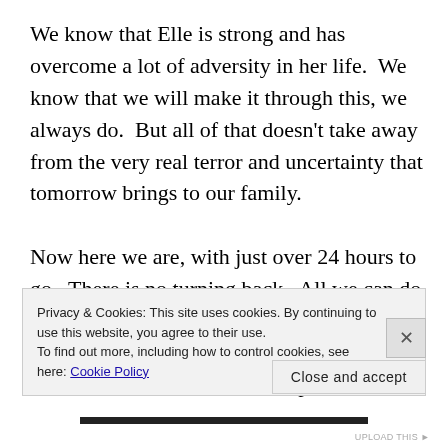We know that Elle is strong and has overcome a lot of adversity in her life.  We know that we will make it through this, we always do.  But all of that doesn't take away from the very real terror and uncertainty that tomorrow brings to our family.

Now here we are, with just over 24 hours to go.  There is no turning back.  All we can do is continue to pray and have faith that the surgeon and the other medical professionals in that room will take the best possible
Privacy & Cookies: This site uses cookies. By continuing to use this website, you agree to their use.
To find out more, including how to control cookies, see here: Cookie Policy
Close and accept